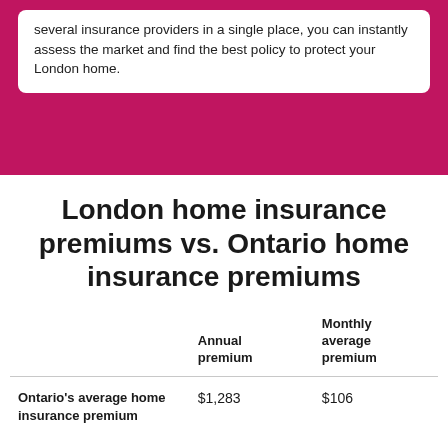several insurance providers in a single place, you can instantly assess the market and find the best policy to protect your London home.
London home insurance premiums vs. Ontario home insurance premiums
|  | Annual premium | Monthly average premium |
| --- | --- | --- |
| Ontario's average home insurance premium | $1,283 | $106 |